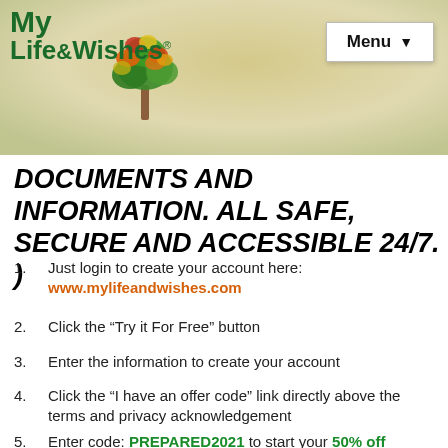[Figure (logo): My Life & Wishes logo with colorful tree illustration and 'Menu' button in top right]
DOCUMENTS AND INFORMATION.  ALL SAFE, SECURE AND ACCESSIBLE 24/7. )
1. Just login to create your account here: www.mylifeandwishes.com
2. Click the "Try it For Free" button
3. Enter the information to create your account
4. Click the "I have an offer code" link directly above the terms and privacy acknowledgement
5. Enter code: PREPARED2021 to start your 50% off